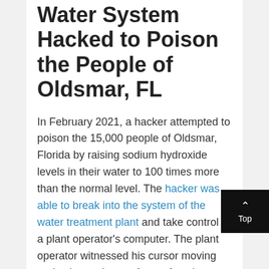Water System Hacked to Poison the People of Oldsmar, FL
In February 2021, a hacker attempted to poison the 15,000 people of Oldsmar, Florida by raising sodium hydroxide levels in their water to 100 times more than the normal level. The hacker was able to break into the system of the water treatment plant and take control of a plant operator's computer. The plant operator witnessed his cursor moving and using various software functions to control the city's water